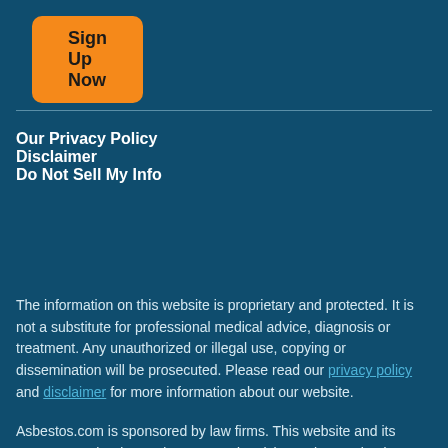[Figure (other): Orange rounded button labeled 'Sign Up Now']
Our Privacy Policy
Disclaimer
Do Not Sell My Info
The information on this website is proprietary and protected. It is not a substitute for professional medical advice, diagnosis or treatment. Any unauthorized or illegal use, copying or dissemination will be prosecuted. Please read our privacy policy and disclaimer for more information about our website.
Asbestos.com is sponsored by law firms. This website and its content may be deemed attorney advertising. Prior results do not predict a similar outcome. For more information, visit our sponsors